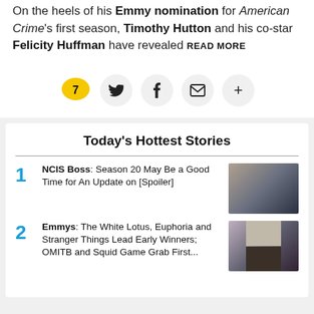On the heels of his Emmy nomination for American Crime's first season, Timothy Hutton and his co-star Felicity Huffman have revealed READ MORE
[Figure (other): Social sharing bar with comment bubble showing 7, Twitter bird icon, Facebook f icon, email envelope icon, and plus icon]
Today's Hottest Stories
NCIS Boss: Season 20 May Be a Good Time for An Update on [Spoiler]
Emmys: The White Lotus, Euphoria and Stranger Things Lead Early Winners; OMITB and Squid Game Grab First...